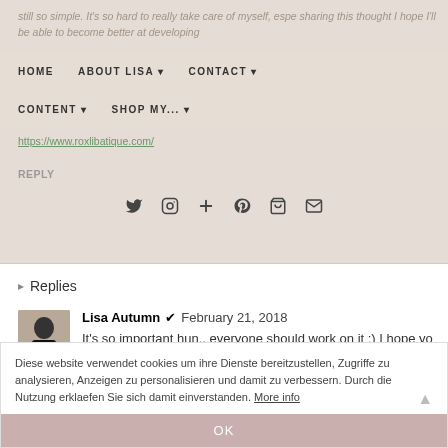HOME | ABOUT LISA | CONTACT | CONTENT | SHOP MY...
still so simple. It's so hard to really take care of myself, espe sharing this thought I hope I'll be able to become better at developing
https://www.roxlibatique.com/
REPLY
▸ Replies
Lisa Autumn ✔ February 21, 2018
It's so important hun.. everyone should work on it :) I hope yo

xx Lisa
Reply
Diese website verwendet cookies um ihre Dienste bereitzustellen, Zugriffe zu analysieren, Anzeigen zu personalisieren und damit zu verbessern. Durch die Nutzung erklaefen Sie sich damit einverstanden. More info
OK